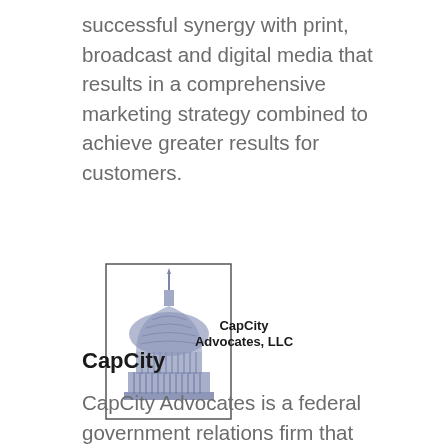successful synergy with print, broadcast and digital media that results in a comprehensive marketing strategy combined to achieve greater results for customers.
[Figure (logo): CapCity Advocates, LLC logo — an illustration of the US Capitol dome in blue/grey with a rectangular border outline, and text 'CapCity Advocates, LLC' to the right of the dome illustration.]
CapCity
CapCity Advocates is a federal government relations firm that specializes in bipartisan advocacy before the House and Senate. The business focuses on traditional “shoe-leather” lobbying as a foundation for clients’ success in Washington, DC. Our hands-on approach is